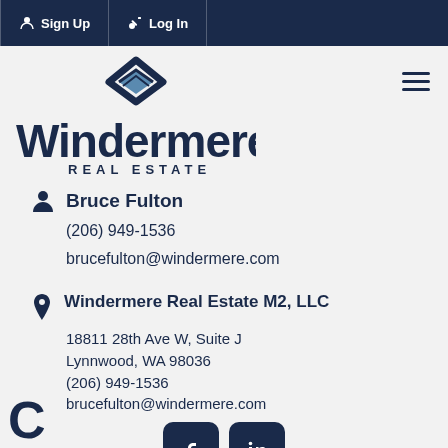Sign Up  Log In
[Figure (logo): Windermere Real Estate logo with diamond icon and wordmark]
Bruce Fulton
(206) 949-1536
brucefulton@windermere.com
Windermere Real Estate M2, LLC
18811 28th Ave W, Suite J
Lynnwood, WA 98036
(206) 949-1536
brucefulton@windermere.com
[Figure (logo): Facebook and LinkedIn social media icons]
C...